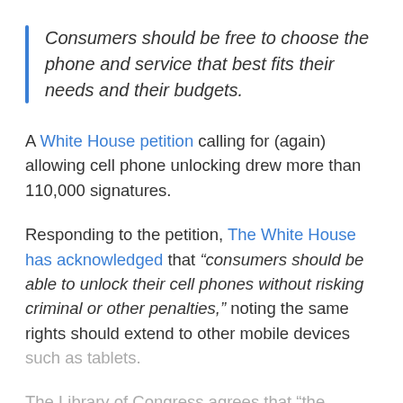Consumers should be free to choose the phone and service that best fits their needs and their budgets.
A White House petition calling for (again) allowing cell phone unlocking drew more than 110,000 signatures.
Responding to the petition, The White House has acknowledged that “consumers should be able to unlock their cell phones without risking criminal or other penalties,” noting the same rights should extend to other mobile devices such as tablets.
The Library of Congress agrees that “the